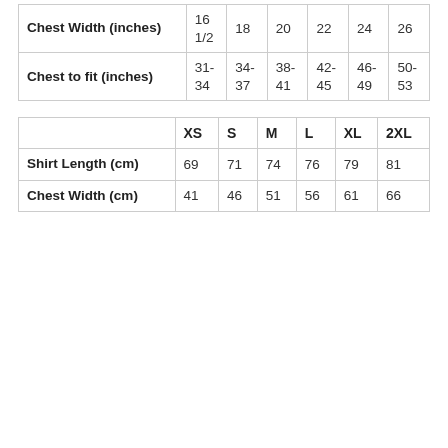|  | 16 1/2 | 18 | 20 | 22 | 24 | 26 |
| --- | --- | --- | --- | --- | --- | --- |
| Chest Width (inches) | 16 1/2 | 18 | 20 | 22 | 24 | 26 |
| Chest to fit (inches) | 31-34 | 34-37 | 38-41 | 42-45 | 46-49 | 50-53 |
|  | XS | S | M | L | XL | 2XL |
| --- | --- | --- | --- | --- | --- | --- |
| Shirt Length (cm) | 69 | 71 | 74 | 76 | 79 | 81 |
| Chest Width (cm) | 41 | 46 | 51 | 56 | 61 | 66 |